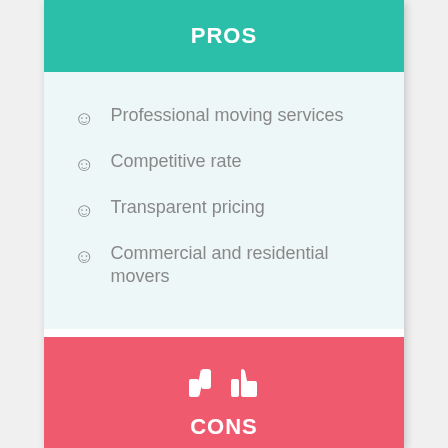PROS
Professional moving services
Competitive rate
Transparent pricing
Commercial and residential movers
CONS